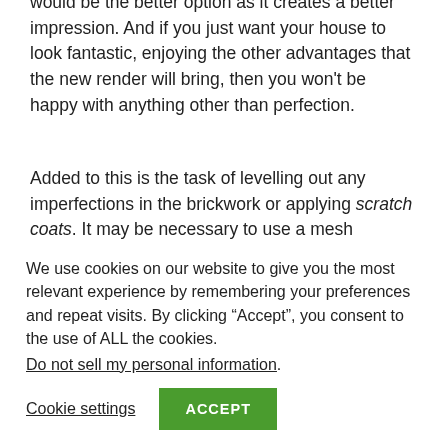would be the better option as it creates a better impression. And if you just want your house to look fantastic, enjoying the other advantages that the new render will bring, then you won't be happy with anything other than perfection.
Added to this is the task of levelling out any imperfections in the brickwork or applying scratch coats. It may be necessary to use a mesh membrane or backing boards as a substrate on which to apply the render. Unless
We use cookies on our website to give you the most relevant experience by remembering your preferences and repeat visits. By clicking “Accept”, you consent to the use of ALL the cookies.
Do not sell my personal information.
Cookie settings
ACCEPT